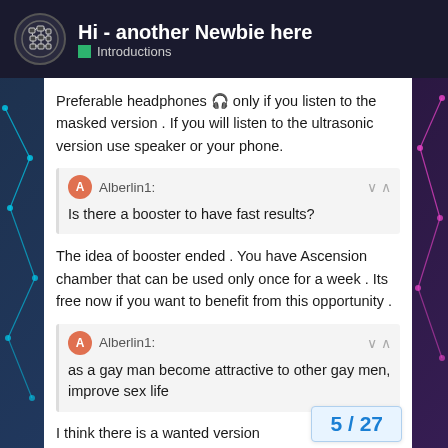Hi - another Newbie here | Introductions
Preferable headphones 🎧 only if you listen to the masked version . If you will listen to the ultrasonic version use speaker or your phone.
Alberlin1: Is there a booster to have fast results?
The idea of booster ended . You have Ascension chamber that can be used only once for a week . Its free now if you want to benefit from this opportunity .
Alberlin1: as a gay man become attractive to other gay men, improve sex life
I think there is a wanted version exactly 👍
5 / 27